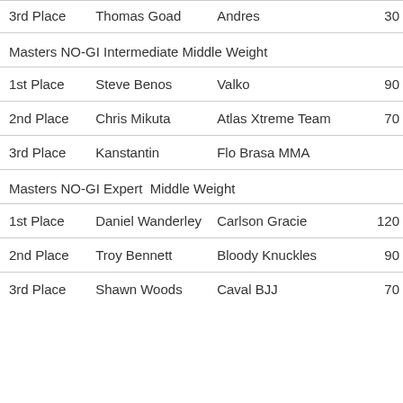| Place | Name | Team | Points |
| --- | --- | --- | --- |
| 3rd Place | Thomas Goad | Andres | 30 |
| Masters NO-GI Intermediate Middle Weight |  |  |  |
| 1st Place | Steve Benos | Valko | 90 |
| 2nd Place | Chris Mikuta | Atlas Xtreme Team | 70 |
| 3rd Place | Kanstantin | Flo Brasa MMA |  |
| Masters NO-GI Expert  Middle Weight |  |  |  |
| 1st Place | Daniel Wanderley | Carlson Gracie | 120 |
| 2nd Place | Troy Bennett | Bloody Knuckles | 90 |
| 3rd Place | Shawn Woods | Caval BJJ | 70 |